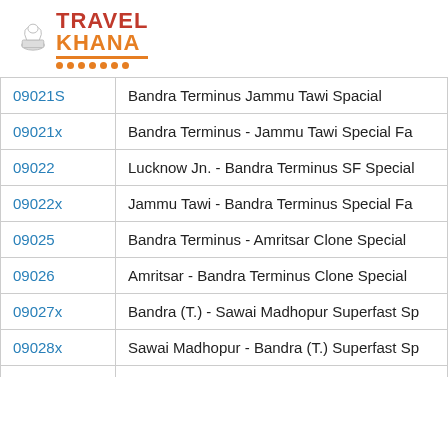[Figure (logo): Travel Khana logo with chef hat icon and orange dots underline]
| Train Number | Train Name |
| --- | --- |
| 09021S | Bandra Terminus Jammu Tawi Spacial |
| 09021x | Bandra Terminus - Jammu Tawi Special Fa |
| 09022 | Lucknow Jn. - Bandra Terminus SF Special |
| 09022x | Jammu Tawi - Bandra Terminus Special Fa |
| 09025 | Bandra Terminus - Amritsar Clone Special |
| 09026 | Amritsar - Bandra Terminus Clone Special |
| 09027x | Bandra (T.) - Sawai Madhopur Superfast Sp |
| 09028x | Sawai Madhopur - Bandra (T.) Superfast Sp |
| 0902A | Nizamuddin Mumbai Rajdhani Special |
| 09033 | Bandra Terminus - Gorakhpur SF Antyoday |